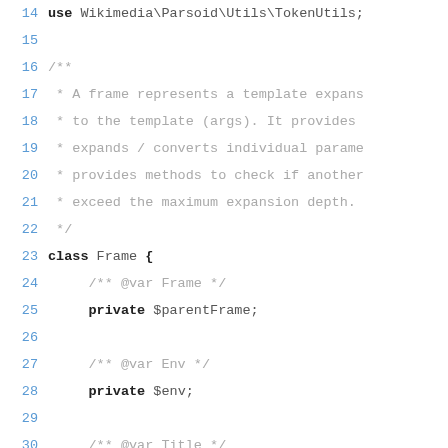14  use Wikimedia\Parsoid\Utils\TokenUtils;
15  (empty)
16  /**
17   * A frame represents a template expans
18   * to the template (args). It provides
19   * expands / converts individual parame
20   * provides methods to check if another
21   * exceed the maximum expansion depth.
22   */
23  class Frame {
24      /** @var Frame */
25      private $parentFrame;
26  (empty)
27      /** @var Env */
28      private $env;
29  (empty)
30      /** @var Title */
31      private $title;
32  (empty)